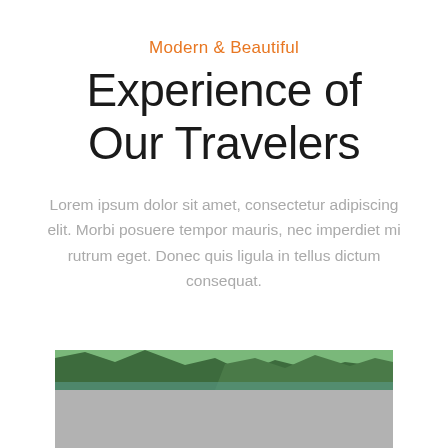Modern & Beautiful
Experience of Our Travelers
Lorem ipsum dolor sit amet, consectetur adipiscing elit. Morbi posuere tempor mauris, nec imperdiet mi rutrum eget. Donec quis ligula in tellus dictum consequat.
[Figure (photo): Landscape photo showing a green mountain gorge or fjord with a river/water at the bottom, partially visible with lower grey area cropped at page bottom]